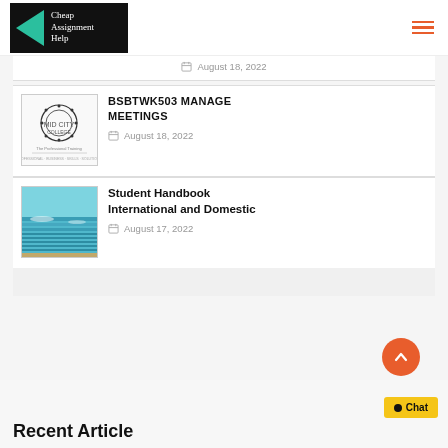Cheap Assignment Help
August 18, 2022
BSBTWK503 MANAGE MEETINGS
August 18, 2022
Student Handbook International and Domestic
August 17, 2022
Recent Article